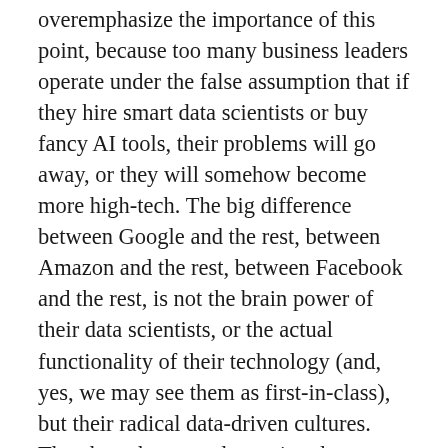overemphasize the importance of this point, because too many business leaders operate under the false assumption that if they hire smart data scientists or buy fancy AI tools, their problems will go away, or they will somehow become more high-tech. The big difference between Google and the rest, between Amazon and the rest, between Facebook and the rest, is not the brain power of their data scientists, or the actual functionality of their technology (and, yes, we may see them as first-in-class), but their radical data-driven cultures. They have harnessed amazing data assets and have great algorithms to interpret (and monetize) that data, but their key strategic advantage and biggest asset is that they live, breathe, and act